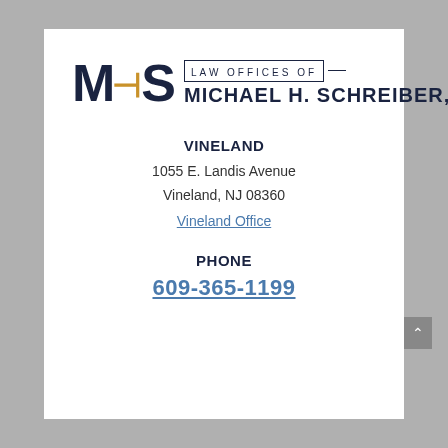[Figure (logo): MHS Law Offices of Michael H. Schreiber, L.L.C. logo with dark navy block letters M, H, S where H has a gold cross/plus symbol, and text 'LAW OFFICES OF' in a bordered box above 'MICHAEL H. SCHREIBER, L.L.C.']
VINELAND
1055 E. Landis Avenue
Vineland, NJ 08360
Vineland Office
PHONE
609-365-1199